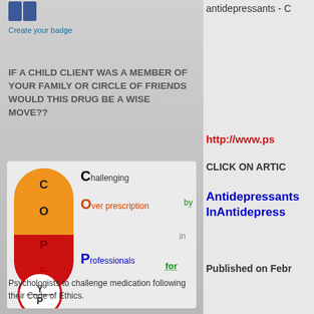[Figure (other): Facebook badge icon with two blue squares]
Create your badge
IF A CHILD CLIENT WAS A MEMBER OF YOUR FAMILY OR CIRCLE OF FRIENDS WOULD THIS DRUG BE A WISE MOVE??
[Figure (illustration): COPE acronym illustration with a pill graphic split orange and red, containing letters C, O, P, E, and a circle with Y/P. Text reads: Challenging Over prescription by Professionals in Education for Young People]
Psychologists to challenge medication following their Code of Ethics.
antidepressants - C
http://www.ps
CLICK ON ARTIC
Antidepressants InAntidepress
Published on Febr